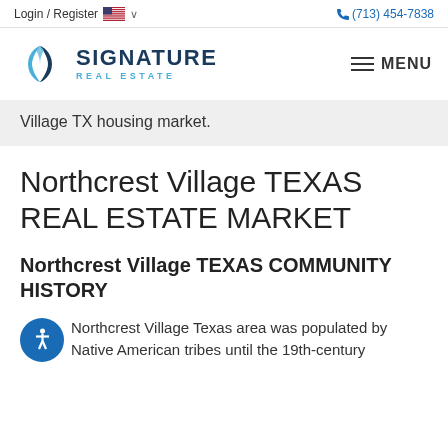Login / Register   🇺🇸 ∨   (713) 454-7838
[Figure (logo): Signature Real Estate logo with blue diamond/leaf icon and company name]
Village TX housing market.
Northcrest Village TEXAS REAL ESTATE MARKET
Northcrest Village TEXAS COMMUNITY HISTORY
Northcrest Village Texas area was populated by Native American tribes until the 19th-century